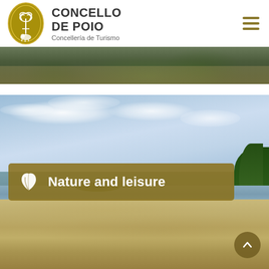CONCELLO DE POIO — Concellería de Turismo
[Figure (photo): Top banner photo showing a green forested path or walkway]
[Figure (photo): Large beach and coastal landscape photo with blue sky and clouds, sandy beach in foreground, hills and island in background, trees on right. Overlaid with a golden banner reading 'Nature and leisure' with a leaf icon.]
Nature and leisure